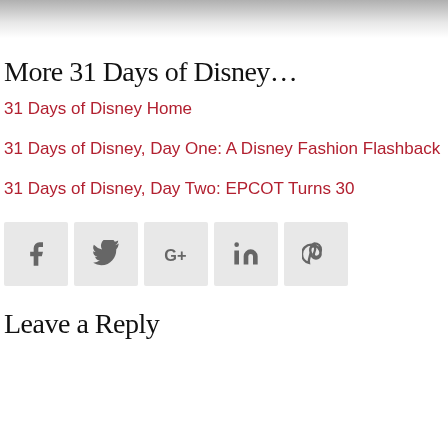[Figure (photo): Partial image at top of page showing a light/white blurred background with a small figure at top center]
More 31 Days of Disney…
31 Days of Disney Home
31 Days of Disney, Day One: A Disney Fashion Flashback
31 Days of Disney, Day Two: EPCOT Turns 30
[Figure (infographic): Social share buttons: Facebook, Twitter, Google+, LinkedIn, Pinterest]
Leave a Reply